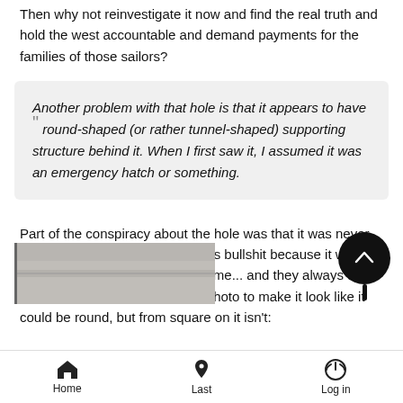Then why not reinvestigate it now and find the real truth and hold the west accountable and demand payments for the families of those sailors?
Another problem with that hole is that it appears to have round-shaped (or rather tunnel-shaped) supporting structure behind it. When I first saw it, I assumed it was an emergency hatch or something.
Part of the conspiracy about the hole was that it was never shown on TV at the time, which is bullshit because it was repeatedly shown on TV at the time... and they always use the worst possible angle of the photo to make it look like it could be round, but from square on it isn't:
[Figure (photo): Partial view of a submarine or ship photo, partially visible at bottom of page]
Home   Last   Log in